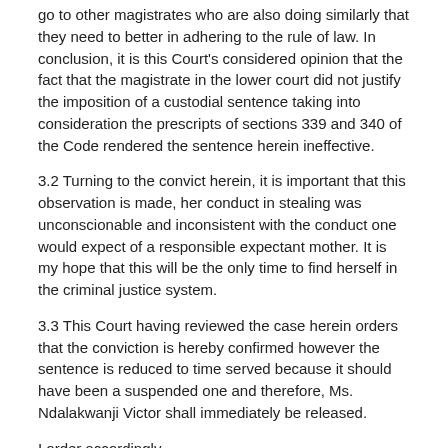go to other magistrates who are also doing similarly that they need to better in adhering to the rule of law. In conclusion, it is this Court's considered opinion that the fact that the magistrate in the lower court did not justify the imposition of a custodial sentence taking into consideration the prescripts of sections 339 and 340 of the Code rendered the sentence herein ineffective.
3.2 Turning to the convict herein, it is important that this observation is made, her conduct in stealing was unconscionable and inconsistent with the conduct one would expect of a responsible expectant mother. It is my hope that this will be the only time to find herself in the criminal justice system.
3.3 This Court having reviewed the case herein orders that the conviction is hereby confirmed however the sentence is reduced to time served because it should have been a suspended one and therefore, Ms. Ndalakwanji Victor shall immediately be released.
I order accordingly.
Made in Chambers on this 27th day of March, 2020.
Z.J.V. Ntaba